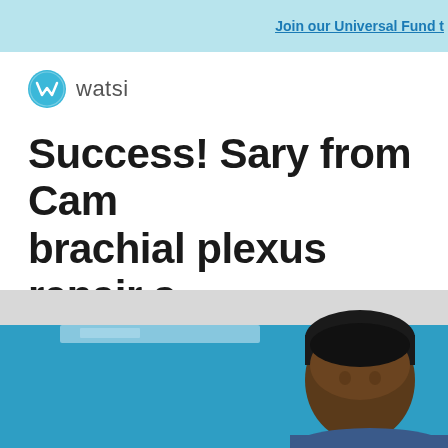Join our Universal Fund to
[Figure (logo): Watsi logo: circular icon with W shape and the word 'watsi' in grey]
Success! Sary from Cambodia received brachial plexus repair surgery and can move again.